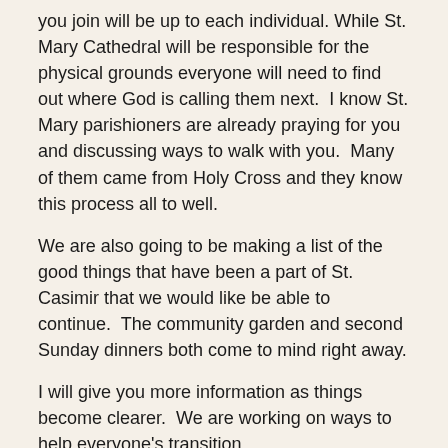you join will be up to each individual. While St. Mary Cathedral will be responsible for the physical grounds everyone will need to find out where God is calling them next.  I know St. Mary parishioners are already praying for you and discussing ways to walk with you.  Many of them came from Holy Cross and they know this process all to well.
We are also going to be making a list of the good things that have been a part of St. Casimir that we would like be able to continue.  The community garden and second Sunday dinners both come to mind right away.
I will give you more information as things become clearer.  We are working on ways to help everyone's transition.
You are in my prayers.